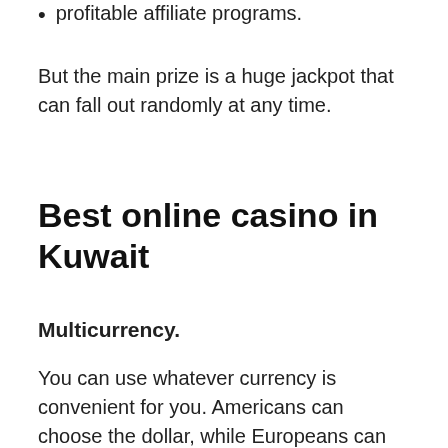profitable affiliate programs.
But the main prize is a huge jackpot that can fall out randomly at any time.
Best online casino in Kuwait
Multicurrency.
You can use whatever currency is convenient for you. Americans can choose the dollar, while Europeans can choose the euro. If you wish, you can play for national currencies of other countries, or even for cryptocurrency. By the way, the